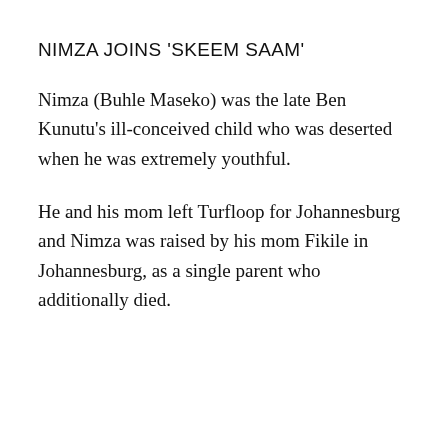NIMZA JOINS 'SKEEM SAAM'
Nimza (Buhle Maseko) was the late Ben Kunutu's ill-conceived child who was deserted when he was extremely youthful.
He and his mom left Turfloop for Johannesburg and Nimza was raised by his mom Fikile in Johannesburg, as a single parent who additionally died.